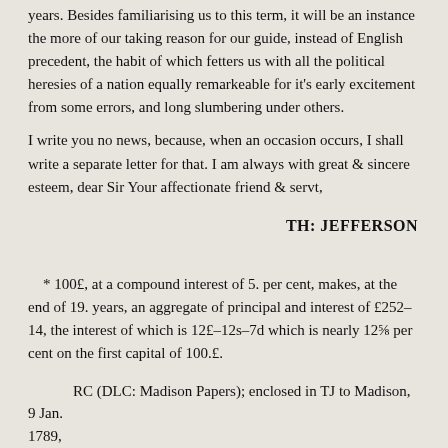years. Besides familiarising us to this term, it will be an instance the more of our taking reason for our guide, instead of English precedent, the habit of which fetters us with all the political heresies of a nation equally remarkeable for it's early excitement from some errors, and long slumbering under others.
I write you no news, because, when an occasion occurs, I shall write a separate letter for that. I am always with great & sincere esteem, dear Sir Your affectionate friend & servt,
TH: JEFFERSON
* 100£, at a compound interest of 5. per cent, makes, at the end of 19. years, an aggregate of principal and interest of £252–14, the interest of which is 12£–12s–7d which is nearly 12⅝ per cent on the first capital of 100.£.
RC (DLC: Madison Papers); enclosed in TJ to Madison, 9 Jan. 1789, and representing the text as revised by TJ about that time.